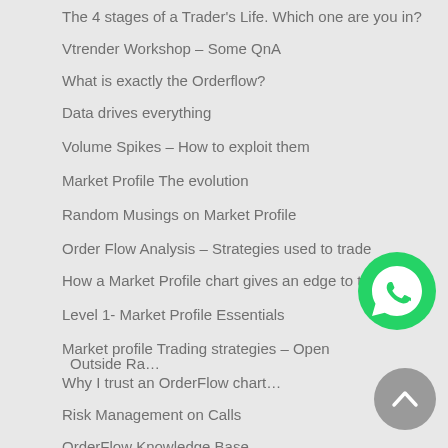The 4 stages of a Trader's Life. Which one are you in?
Vtrender Workshop – Some QnA
What is exactly the Orderflow?
Data drives everything
Volume Spikes – How to exploit them
Market Profile The evolution
Random Musings on Market Profile
Order Flow Analysis – Strategies used to trade
How a Market Profile chart gives an edge to trade
Level 1- Market Profile Essentials
Market profile Trading strategies – Open Outside Ra…
Why I trust an OrderFlow chart…
Risk Management on Calls
OrderFlow Knowledge Base